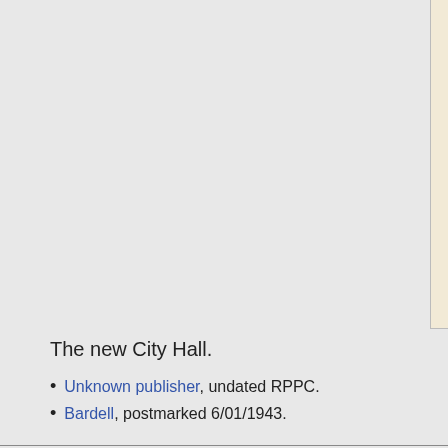[Figure (photo): Partial view of the back of a postcard with 'CORRESPONDENCE' and 'ADDRESS' printed at top, cream/beige color, with a vertical dividing line.]
The new City Hall.
Unknown publisher, undated RPPC.
Bardell, postmarked 6/01/1943.
Steve's SF postcard pages:
Next: Hotels: Palace Hotel
Postcard catalog
Postcard pages
Postcard slideshows
Contact